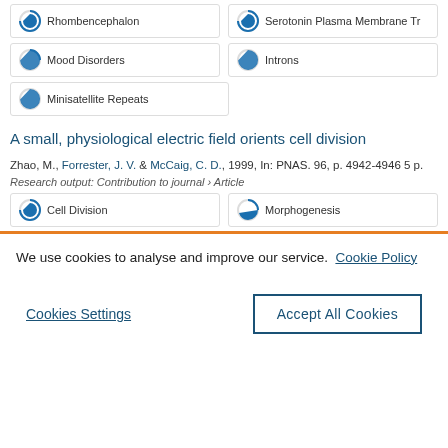Rhombencephalon
Serotonin Plasma Membrane Tr
Mood Disorders
Introns
Minisatellite Repeats
A small, physiological electric field orients cell division
Zhao, M., Forrester, J. V. & McCaig, C. D., 1999, In: PNAS. 96, p. 4942-4946 5 p.
Research output: Contribution to journal › Article
Cell Division
Morphogenesis
We use cookies to analyse and improve our service. Cookie Policy
Cookies Settings
Accept All Cookies